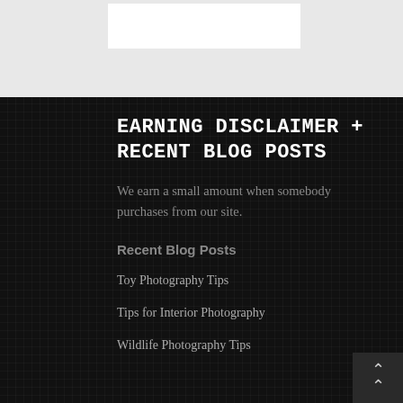EARNING DISCLAIMER + RECENT BLOG POSTS
We earn a small amount when somebody purchases from our site.
Recent Blog Posts
Toy Photography Tips
Tips for Interior Photography
Wildlife Photography Tips